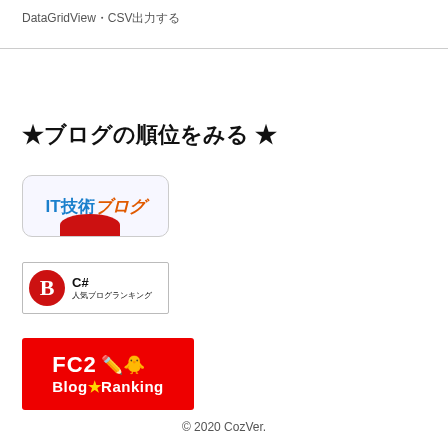DataGridView・CSV出力する
★ブログの順位をみる ★
[Figure (logo): IT技術ブログ ranking badge button with blue and orange text and red arc at bottom]
[Figure (logo): C# 人気ブログランキング badge with red B logo icon]
[Figure (logo): FC2 Blog★Ranking red badge with pencil and duck emoji icons]
© 2020 CozVer.